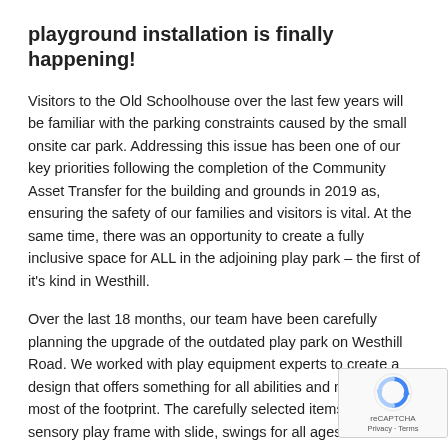playground installation is finally happening!
Visitors to the Old Schoolhouse over the last few years will be familiar with the parking constraints caused by the small onsite car park. Addressing this issue has been one of our key priorities following the completion of the Community Asset Transfer for the building and grounds in 2019 as, ensuring the safety of our families and visitors is vital. At the same time, there was an opportunity to create a fully inclusive space for ALL in the adjoining play park – the first of it's kind in Westhill.
Over the last 18 months, our team have been carefully planning the upgrade of the outdated play park on Westhill Road. We worked with play equipment experts to create a design that offers something for all abilities and makes the most of the footprint. The carefully selected items include a sensory play frame with slide, swings for all ages and abilities as well as a wheelchair accessible trampoline and roundabout.
[Figure (logo): reCAPTCHA badge with rotating arrows icon and Privacy - Terms text]